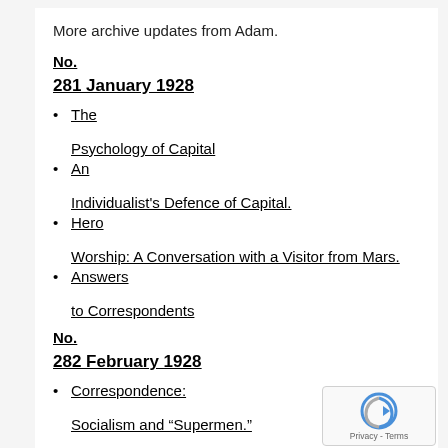More archive updates from Adam.
No.
281 January 1928
The Psychology of Capital
An Individualist's Defence of Capital.
Hero Worship: A Conversation with a Visitor from Mars.
Answers to Correspondents
No.
282 February 1928
Correspondence: Socialism and “Supermen.”